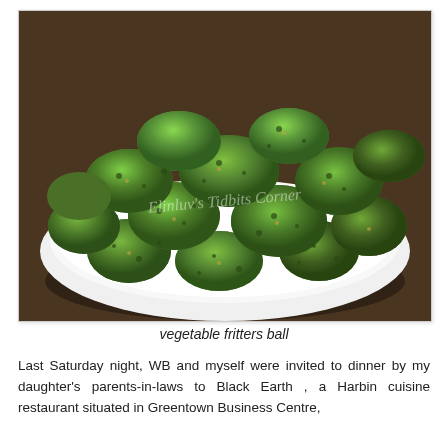[Figure (photo): A white plate piled with green vegetable fritters balls, photographed on a dark wooden table. A watermark reading "Elinluv's Tidbits Corner" is visible in the center of the image.]
vegetable fritters ball
Last Saturday night, WB and myself were invited to dinner by my daughter's parents-in-laws to Black Earth , a Harbin cuisine restaurant situated in Greentown Business Centre,